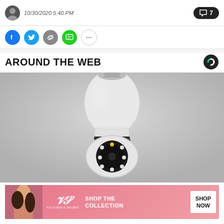10/30/2020 5:40 PM
[Figure (illustration): Row of social sharing icons: Facebook (blue), Twitter (blue), link/chain (gray), SMS/message (green), more options (white outlined circle). Right side: comment button showing 7 comments.]
AROUND THE WEB
[Figure (photo): Close-up photo of a white security camera shaped like a light bulb, with a dome lens housing visible at the bottom containing LED lights, mounted against a light gray wall.]
[Figure (other): Victoria's Secret advertisement banner with pink gradient background. Shows a model, VS logo, text SHOP THE COLLECTION, and a white SHOP NOW button.]